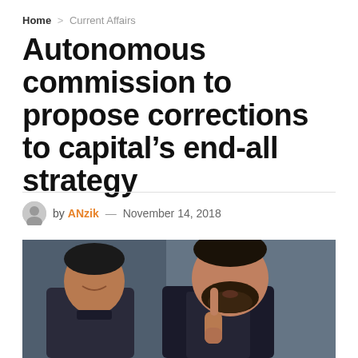Home > Current Affairs
Autonomous commission to propose corrections to capital’s end-all strategy
by ANzik — November 14, 2018
[Figure (photo): Two men in dark clothing, one with a beard gesturing with finger raised, another smiling slightly behind him, in front of a blurred blue background]